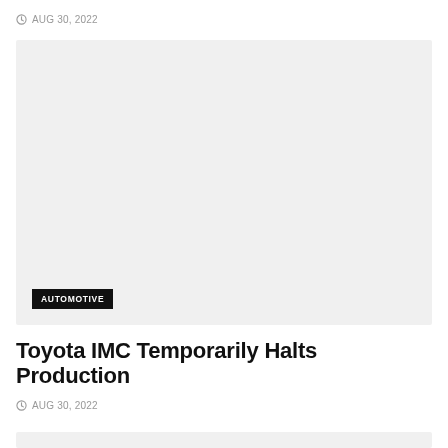AUG 30, 2022
[Figure (photo): Large light gray placeholder image with AUTOMOTIVE category label overlaid at bottom left]
Toyota IMC Temporarily Halts Production
AUG 30, 2022